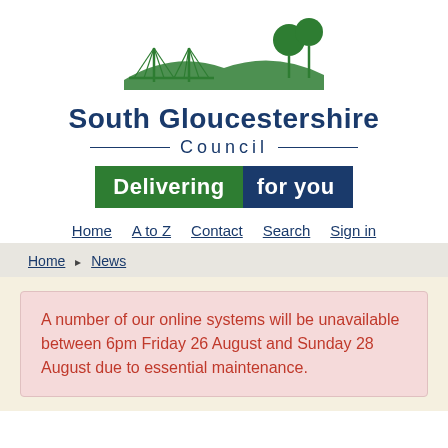[Figure (logo): South Gloucestershire Council logo with bridge and trees illustration in green, text 'South Gloucestershire Council' in dark blue, and 'Delivering for you' tagline banner in green and blue]
Home  A to Z  Contact  Search  Sign in
Home ▸ News
A number of our online systems will be unavailable between 6pm Friday 26 August and Sunday 28 August due to essential maintenance.